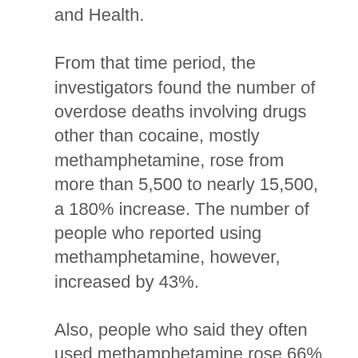and Health.
From that time period, the investigators found the number of overdose deaths involving drugs other than cocaine, mostly methamphetamine, rose from more than 5,500 to nearly 15,500, a 180% increase. The number of people who reported using methamphetamine, however, increased by 43%.
Also, people who said they often used methamphetamine rose 66% between 2015 and 2019, and the number of people who used methamphetamine and cocaine together increased 60%.
Since 2017, more methamphetamine users reported higher-risk use patterns, such as having methamphetamine use disorder and/or injecting methamphetamine, which may be contributing to the